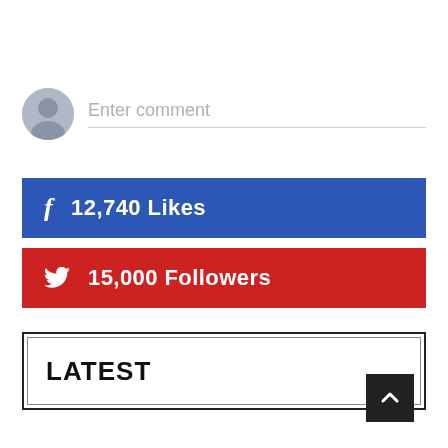[Figure (screenshot): Comment input field with avatar icon and 'Enter comment' placeholder text]
12,740 Likes
15,000 Followers
LATEST